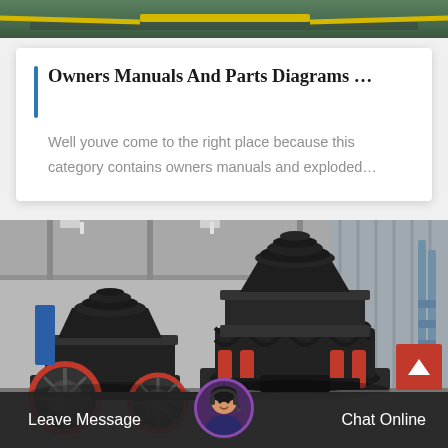[Figure (photo): Top portion of industrial/warehouse scene with green floor markings and yellow stripe, partially cropped]
Owners Manuals And Parts Diagrams …
Well youve come to the right place because this category contains owners manuals and exploded…
[Figure (photo): Industrial cone crusher machines in a factory/warehouse setting, black machinery with red flywheel and red hydraulic cylinders, steel structure in background]
Leave Message
Chat Online